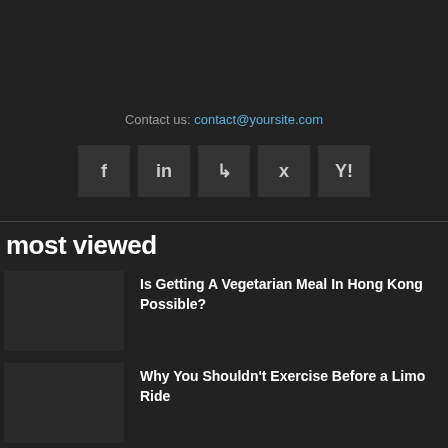Contact us: contact@yoursite.com
[Figure (other): Social media icon buttons: Facebook, LinkedIn, RSS, Twitter, Yahoo]
most viewed
Is Getting A Vegetarian Meal In Hong Kong Possible?
Why You Shouldn't Exercise Before a Limo Ride